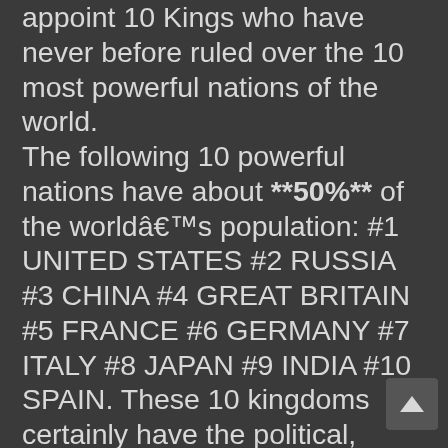appoint 10 Kings who have never before ruled over the 10 most powerful nations of the world. The following 10 powerful nations have about **50%** of the world’s population: #1 UNITED STATES #2 RUSSIA #3 CHINA #4 GREAT BRITAIN #5 FRANCE #6 GERMANY #7 ITALY #8 JAPAN #9 INDIA #10 SPAIN. These 10 kingdoms certainly have the political, economic, military and “religious” power to keep all the other weaker nations of the world in line. *666* will then control the local, state and national governments of every nation and tribe in the world; and will also quickly control the TV, radio, Internet, musical and movie medias. There is certainly nothing in God’s Word that implies that these 10 nations must come from a much weaker spineless European Coalition